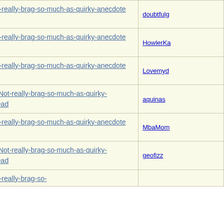| Subject | Author |
| --- | --- |
| Re: Not-really-brag-so-much-as-quirky-anecdote thread | doubtfulg |
| Re: Not-really-brag-so-much-as-quirky-anecdote thread | HowlerKa |
| Re: Not-really-brag-so-much-as-quirky-anecdote thread | Lovemyd |
| Re: Not-really-brag-so-much-as-quirky-anecdote thread | aquinas |
| Re: Not-really-brag-so-much-as-quirky-anecdote thread | MbaMom |
| Re: Not-really-brag-so-much-as-quirky-anecdote thread | geofizz |
| Re: Not-really-brag-so-much-as-quirky-anecdote thread |  |